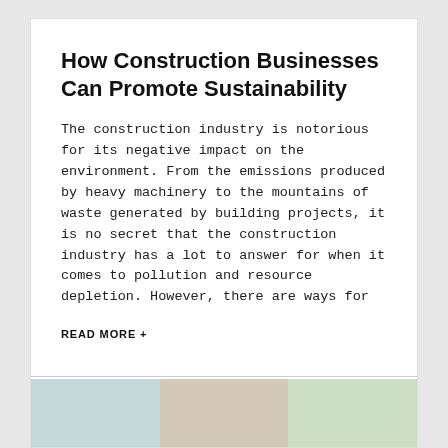How Construction Businesses Can Promote Sustainability
The construction industry is notorious for its negative impact on the environment. From the emissions produced by heavy machinery to the mountains of waste generated by building projects, it is no secret that the construction industry has a lot to answer for when it comes to pollution and resource depletion. However, there are ways for
READ MORE +
BootsOnTheRoof • February 20, 2022
[Figure (photo): Bottom section showing partial images of the next article, with light blue, beige, and green-tinted photo panels]